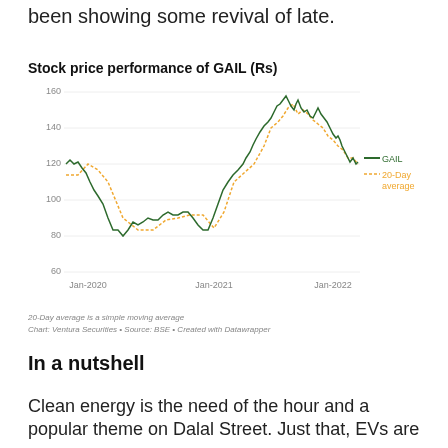been showing some revival of late.
[Figure (continuous-plot): Line chart showing GAIL stock price (green solid line) and 20-Day moving average (orange dotted line) from Jan-2020 to Jan-2022. Price starts around 120-130 in Jan-2020, drops to ~68 in mid-2020, recovers to ~100-105 in late 2020, then rises sharply to a peak near 168 in mid-2021, before declining to around 125-140 by Jan-2022. Y-axis: 60 to 160 Rs. X-axis: Jan-2020, Jan-2021, Jan-2022.]
20-Day average is a simple moving average
Chart: Ventura Securities • Source: BSE • Created with Datawrapper
In a nutshell
Clean energy is the need of the hour and a popular theme on Dalal Street. Just that, EVs are